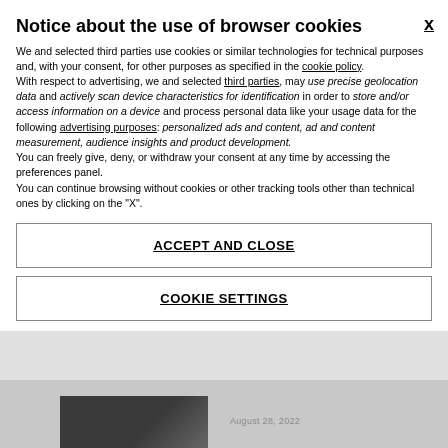Notice about the use of browser cookies
We and selected third parties use cookies or similar technologies for technical purposes and, with your consent, for other purposes as specified in the cookie policy. With respect to advertising, we and selected third parties, may use precise geolocation data and actively scan device characteristics for identification in order to store and/or access information on a device and process personal data like your usage data for the following advertising purposes: personalized ads and content, ad and content measurement, audience insights and product development. You can freely give, deny, or withdraw your consent at any time by accessing the preferences panel. You can continue browsing without cookies or other tracking tools other than technical ones by clicking on the "X".
ACCEPT AND CLOSE
COOKIE SETTINGS